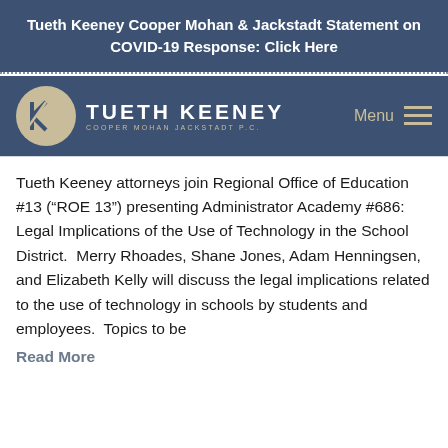Tueth Keeney Cooper Mohan & Jackstadt Statement on COVID-19 Response: Click Here
[Figure (logo): Tueth Keeney Cooper Mohan Jackstadt P.C. logo with circular TK emblem and firm name, plus hamburger menu icon]
Tueth Keeney attorneys join Regional Office of Education #13 (“ROE 13”) presenting Administrator Academy #686: Legal Implications of the Use of Technology in the School District.  Merry Rhoades, Shane Jones, Adam Henningsen, and Elizabeth Kelly will discuss the legal implications related to the use of technology in schools by students and employees.  Topics to be
Read More